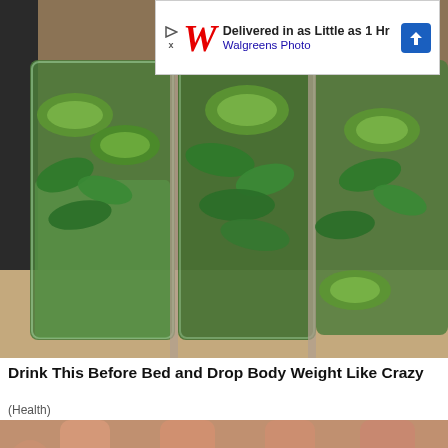[Figure (photo): Three tall glasses filled with water, cucumber slices, mint leaves, and lemon slices on a kitchen counter]
[Figure (photo): Advertisement banner: Walgreens Photo - Delivered in as Little as 1 Hr]
Drink This Before Bed and Drop Body Weight Like Crazy
(Health)
[Figure (photo): A hand holding several cashew nuts]